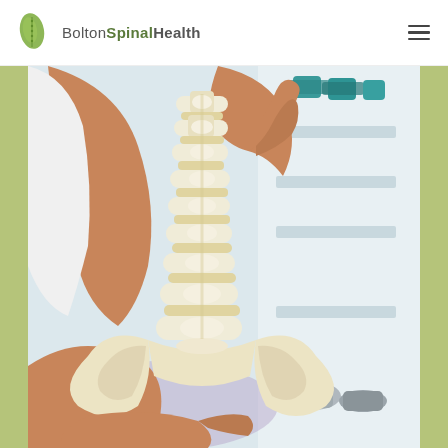BoltonSpinalHealth [logo] [hamburger menu]
[Figure (photo): A healthcare practitioner's hands holding a white anatomical spine model with pelvis, displayed in a clinical environment with blurred background showing gym equipment (teal dumbbells) and white shelving.]